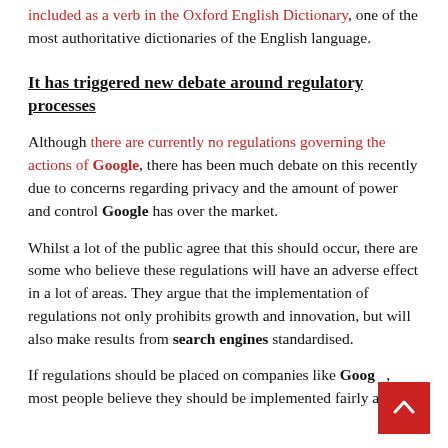included as a verb in the Oxford English Dictionary, one of the most authoritative dictionaries of the English language.
It has triggered new debate around regulatory processes
Although there are currently no regulations governing the actions of Google, there has been much debate on this recently due to concerns regarding privacy and the amount of power and control Google has over the market.
Whilst a lot of the public agree that this should occur, there are some who believe these regulations will have an adverse effect in a lot of areas. They argue that the implementation of regulations not only prohibits growth and innovation, but will also make results from search engines standardised.
If regulations should be placed on companies like Google, most people believe they should be implemented fairly and